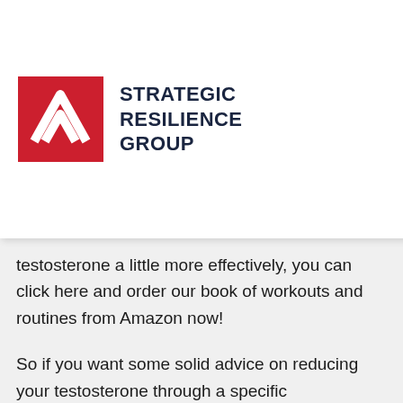[Figure (logo): Strategic Resilience Group logo with red square containing white chevron marks and bold dark text]
ne
d
al
oss.
testosterone a little more effectively, you can click here and order our book of workouts and routines from Amazon now!
So if you want some solid advice on reducing your testosterone through a specific exercise/movement regime, and more importantly a comprehensive guide to how to create and implement a testosterone diet, you can now get the download from OvercomingDiagnosis, clenbuterol fat loss pubmed.com, clenbuterol fat loss pubmed.